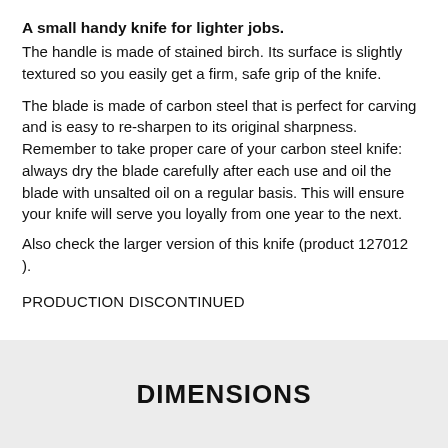A small handy knife for lighter jobs.
The handle is made of stained birch. Its surface is slightly textured so you easily get a firm, safe grip of the knife.
The blade is made of carbon steel that is perfect for carving and is easy to re-sharpen to its original sharpness. Remember to take proper care of your carbon steel knife: always dry the blade carefully after each use and oil the blade with unsalted oil on a regular basis. This will ensure your knife will serve you loyally from one year to the next.
Also check the larger version of this knife (product 127012
).
PRODUCTION DISCONTINUED
DIMENSIONS